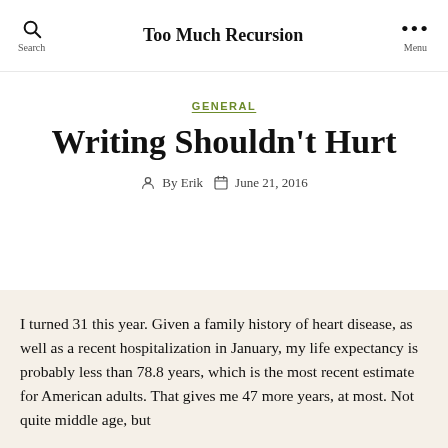Too Much Recursion
GENERAL
Writing Shouldn't Hurt
By Erik   June 21, 2016
I turned 31 this year. Given a family history of heart disease, as well as a recent hospitalization in January, my life expectancy is probably less than 78.8 years, which is the most recent estimate for American adults. That gives me 47 more years, at most. Not quite middle age, but